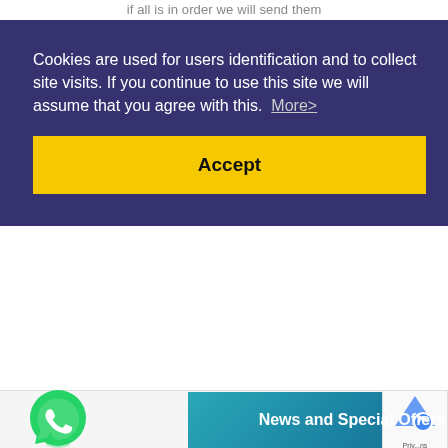if all is in order we will send them
Cookies are used for users identification and to collect site visits. If you continue to use this site we will assume that you agree with this. More>
Accept
[Figure (logo): WhatsApp green speech bubble icon with phone handset]
News and Special Offers on
[Figure (logo): Google reCAPTCHA logo with privacy text]